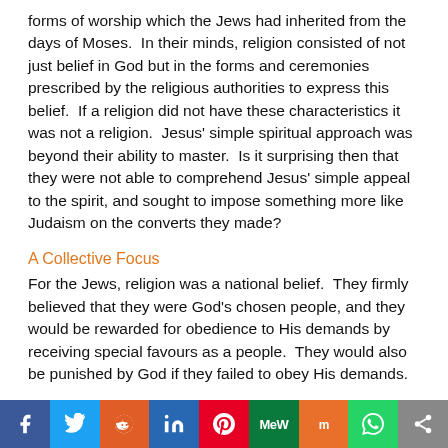forms of worship which the Jews had inherited from the days of Moses. In their minds, religion consisted of not just belief in God but in the forms and ceremonies prescribed by the religious authorities to express this belief. If a religion did not have these characteristics it was not a religion. Jesus' simple spiritual approach was beyond their ability to master. Is it surprising then that they were not able to comprehend Jesus' simple appeal to the spirit, and sought to impose something more like Judaism on the converts they made?
A Collective Focus
For the Jews, religion was a national belief. They firmly believed that they were God's chosen people, and they would be rewarded for obedience to His demands by receiving special favours as a people. They would also be punished by God if they failed to obey His demands.
[Figure (infographic): Social media sharing bar with icons for Facebook, Twitter, Reddit, LinkedIn, Pinterest, MeWe, Mix, WhatsApp, and a share button.]